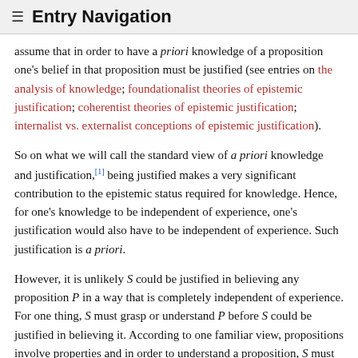≡ Entry Navigation
assume that in order to have a priori knowledge of a proposition one's belief in that proposition must be justified (see entries on the analysis of knowledge; foundationalist theories of epistemic justification; coherentist theories of epistemic justification; internalist vs. externalist conceptions of epistemic justification).
So on what we will call the standard view of a priori knowledge and justification,[1] being justified makes a very significant contribution to the epistemic status required for knowledge. Hence, for one's knowledge to be independent of experience, one's justification would also have to be independent of experience. Such justification is a priori.
However, it is unlikely S could be justified in believing any proposition P in a way that is completely independent of experience. For one thing, S must grasp or understand P before S could be justified in believing it. According to one familiar view, propositions involve properties and in order to understand a proposition, S must have or grasp